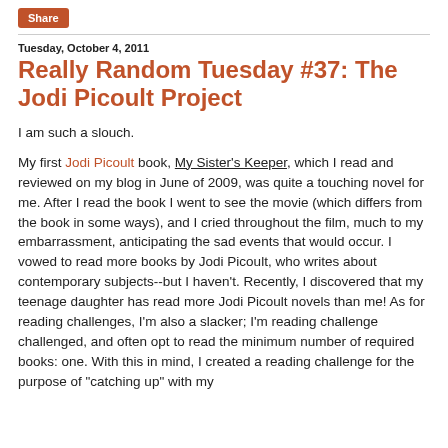Share
Tuesday, October 4, 2011
Really Random Tuesday #37: The Jodi Picoult Project
I am such a slouch.

My first Jodi Picoult book, My Sister's Keeper, which I read and reviewed on my blog in June of 2009, was quite a touching novel for me. After I read the book I went to see the movie (which differs from the book in some ways), and I cried throughout the film, much to my embarrassment, anticipating the sad events that would occur. I vowed to read more books by Jodi Picoult, who writes about contemporary subjects--but I haven't. Recently, I discovered that my teenage daughter has read more Jodi Picoult novels than me! As for reading challenges, I'm also a slacker; I'm reading challenge challenged, and often opt to read the minimum number of required books: one. With this in mind, I created a reading challenge for the purpose of "catching up" with my